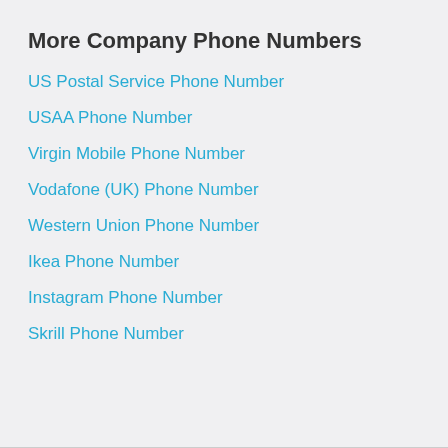More Company Phone Numbers
US Postal Service Phone Number
USAA Phone Number
Virgin Mobile Phone Number
Vodafone (UK) Phone Number
Western Union Phone Number
Ikea Phone Number
Instagram Phone Number
Skrill Phone Number